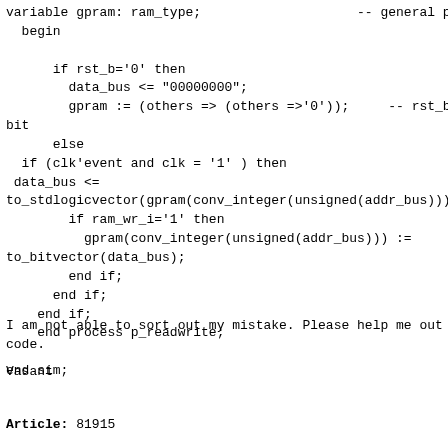variable gpram: ram_type;                    -- general pu
  begin

      if rst_b='0' then
        data_bus <= "00000000";
        gpram := (others => (others =>'0'));     -- rst_b ev
bit
      else
  if (clk'event and clk = '1' ) then
 data_bus <=
to_stdlogicvector(gpram(conv_integer(unsigned(addr_bus)))
        if ram_wr_i='1' then
          gpram(conv_integer(unsigned(addr_bus))) :=
to_bitvector(data_bus);
        end if;
      end if;
    end if;
    end process p_readwrite;

end sim;
I am not able to sort out my mistake. Please help me out
code.
Vasant
Article: 81915